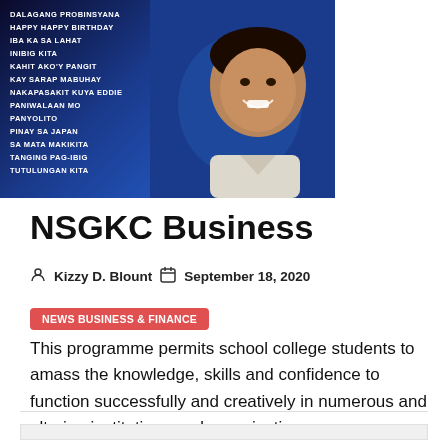[Figure (photo): Album cover or promotional image showing a man's face on a blue background with a list of Filipino song titles on the left side. Songs listed: DALAGANG PROBINSYANA, HAPPY HAPPY BIRTHDAY, IBA KA SA LAHAT, INIBIG KITA, KAHIT AKO'Y PANGIT, KAY SARAP MABUHAY, NAKAPASAKIT KUYA EDDIE, PANIWALAAN MO, PANYOLITO, PINAY SA JAPAN, SA MATA MAKIKITA, TANGING PAG-IBIG, TUTULUNGAN KITA]
NSGKC Business
Kizzy D. Blount   September 18, 2020
NEWS BUSINESS & FINANCE
This programme permits school college students to amass the knowledge, skills and confidence to function successfully and creatively in numerous and altering institutions and organisations....